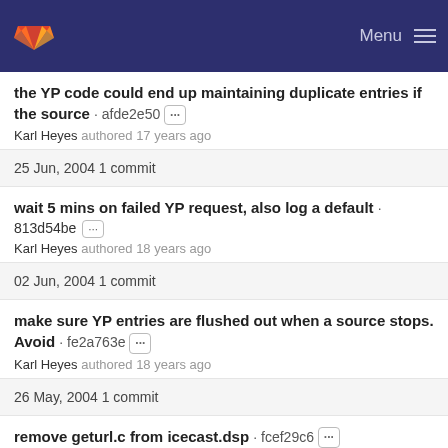Menu
the YP code could end up maintaining duplicate entries if the source · afde2e50 ··· Karl Heyes authored 17 years ago
25 Jun, 2004 1 commit
wait 5 mins on failed YP request, also log a default · 813d54be ··· Karl Heyes authored 18 years ago
02 Jun, 2004 1 commit
make sure YP entries are flushed out when a source stops. Avoid · fe2a763e ··· Karl Heyes authored 18 years ago
26 May, 2004 1 commit
remove geturl.c from icecast.dsp · fcef29c6 ··· Ed "oddsock" Zaleski authored 18 years ago